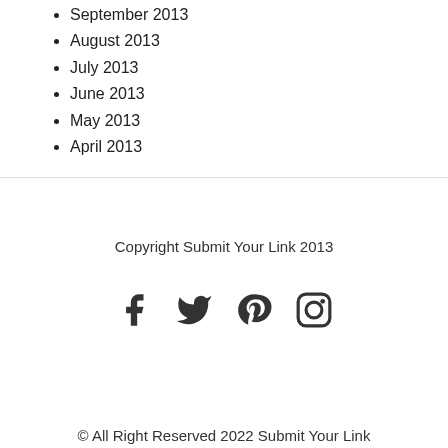September 2013
August 2013
July 2013
June 2013
May 2013
April 2013
Copyright Submit Your Link 2013
[Figure (other): Social media icons: Facebook, Twitter, Pinterest, Instagram]
© All Right Reserved 2022 Submit Your Link